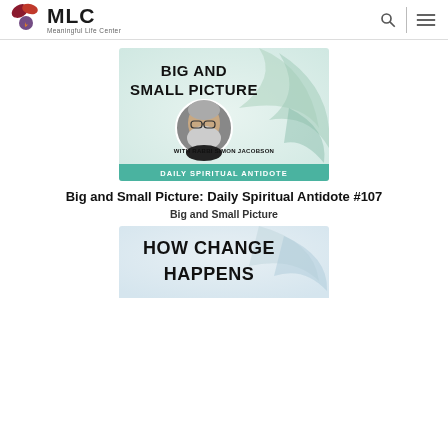MLC Meaningful Life Center
[Figure (illustration): Podcast cover art for 'Big and Small Picture' with Rabbi Simon Jacobson. Shows text 'BIG AND SMALL PICTURE' at top, circular photo of bearded man with glasses in center, text 'WITH RABBI SIMON JACOBSON' below, and teal banner 'DAILY SPIRITUAL ANTIDOTE' at bottom. Background has swirling light teal/green design.]
Big and Small Picture: Daily Spiritual Antidote #107
Big and Small Picture
[Figure (illustration): Podcast cover art showing 'HOW CHANGE HAPPENS' in large bold black text on a light background with decorative swirl design.]